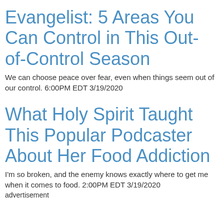Evangelist: 5 Areas You Can Control in This Out-of-Control Season
We can choose peace over fear, even when things seem out of our control. 6:00PM EDT 3/19/2020
What Holy Spirit Taught This Popular Podcaster About Her Food Addiction
I'm so broken, and the enemy knows exactly where to get me when it comes to food. 2:00PM EDT 3/19/2020
advertisement